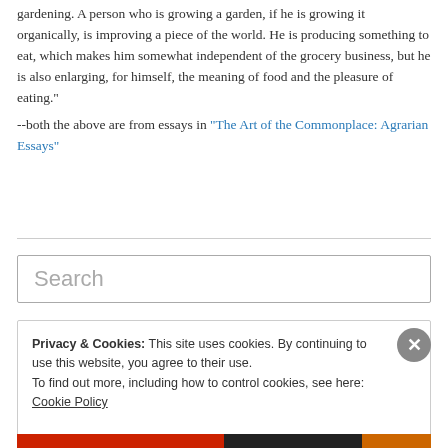gardening. A person who is growing a garden, if he is growing it organically, is improving a piece of the world. He is producing something to eat, which makes him somewhat independent of the grocery business, but he is also enlarging, for himself, the meaning of food and the pleasure of eating." --both the above are from essays in "The Art of the Commonplace: Agrarian Essays"
[Figure (other): Search input field with placeholder text 'Search']
Privacy & Cookies: This site uses cookies. By continuing to use this website, you agree to their use. To find out more, including how to control cookies, see here: Cookie Policy